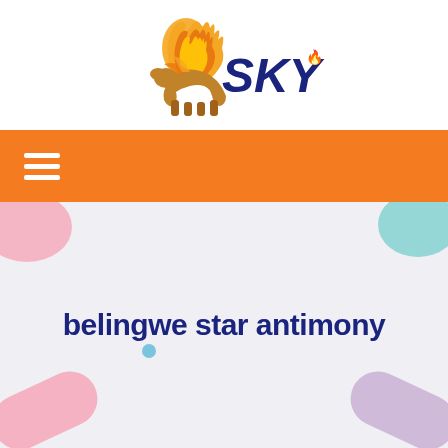[Figure (logo): SKY brand logo featuring a flaming pegasus horse in orange/yellow/red colors with the word SKY in dark navy blue bold italic text and a small flame superscript]
[Figure (infographic): Orange navigation bar with white hamburger menu icon (three horizontal lines) on the left]
belingwe star antimony